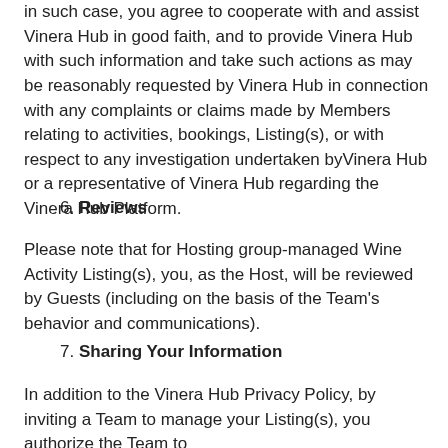in such case, you agree to cooperate with and assist Vinera Hub in good faith, and to provide Vinera Hub with such information and take such actions as may be reasonably requested by Vinera Hub in connection with any complaints or claims made by Members relating to activities, bookings, Listing(s), or with respect to any investigation undertaken byVinera Hub or a representative of Vinera Hub regarding the Vinera Hub Platform.
6. Reviews
Please note that for Hosting group-managed Wine Activity Listing(s), you, as the Host, will be reviewed by Guests (including on the basis of the Team's behavior and communications).
7. Sharing Your Information
In addition to the Vinera Hub Privacy Policy, by inviting a Team to manage your Listing(s), you authorize the Team to